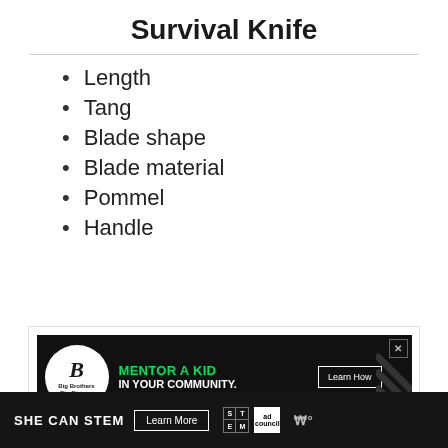Survival Knife
Length
Tang
Blade shape
Blade material
Pommel
Handle
[Figure (other): Big Brothers Big Sisters advertisement: MENTOR A KID IN YOUR COMMUNITY. Learn How button.]
SHE CAN STEM Learn More